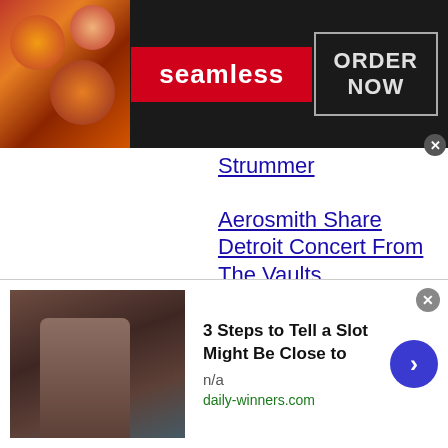[Figure (screenshot): Seamless food delivery advertisement banner with pizza image on left, red Seamless logo in center, and 'ORDER NOW' button on right]
Strummer
Aerosmith Share Detroit Concert From The Vaults
Panic! At The Disco's Brendon Urie Talks
[Figure (screenshot): Advertisement: '3 Steps to Tell a Slot Might Be Close to' from daily-winners.com with n/a subtext, showing a person in a coat on left and a blue arrow button on right]